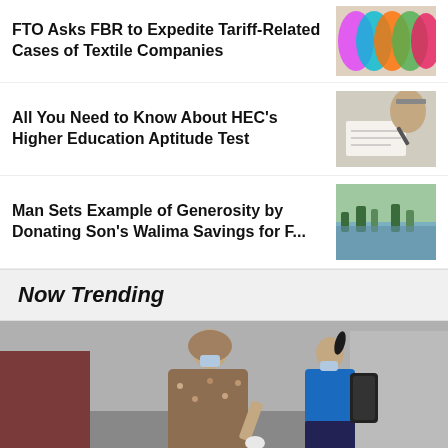FTO Asks FBR to Expedite Tariff-Related Cases of Textile Companies
[Figure (photo): Colorful textile rolls/fabric photo thumbnail]
All You Need to Know About HEC's Higher Education Aptitude Test
[Figure (photo): Person writing on exam paper thumbnail]
Man Sets Example of Generosity by Donating Son's Walima Savings for F...
[Figure (photo): Flooded landscape with trees reflected in water]
Now Trending
[Figure (photo): Two people wearing masks walking outdoors, one in floral outfit one in blue school uniform]